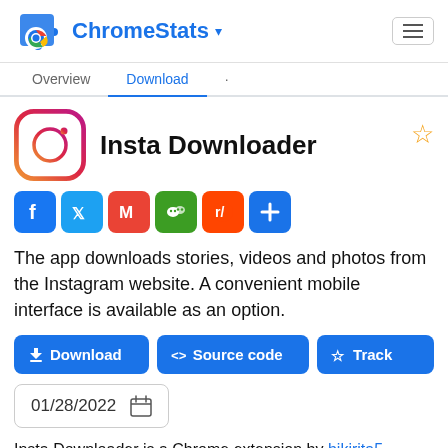ChromeStats
Overview | Download
Insta Downloader
[Figure (logo): Insta Downloader Chrome extension icon — Instagram-style circular gradient logo]
[Figure (infographic): Social share buttons: Facebook, Twitter, Gmail, WeChat, Reddit, Plus]
The app downloads stories, videos and photos from the Instagram website. A convenient mobile interface is available as an option.
Download | <> Source code | Track
01/28/2022
Insta Downloader is a Chrome extension by bikirita5827. It was previously known as Downloader for